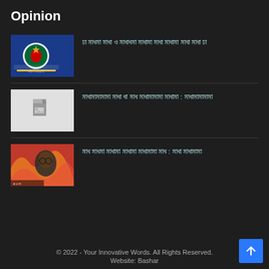Opinion
[Figure (photo): Thumbnail image showing Bangladesh government ministry logo on blue background with Bengali text]
[Bengali text: article title 1]
[Figure (photo): Placeholder image with document icon on light gray background]
[Bengali text: article title 2]
[Figure (photo): Thumbnail image with colorful artistic design featuring a face with glasses]
[Bengali text: article title 3]
© 2022 - Your Innovative Words. All Rights Reserved. Website: Bashar